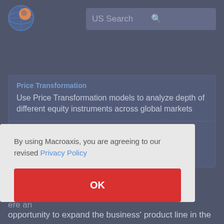[Figure (logo): Macroaxis circular globe logo with orange and blue colors]
US Search
Price Transformation
Use Price Transformation models to analyze depth of different equity instruments across global markets
Portfolio Comparator
Compare the composition, asset allocations and performance of any two portfolios in your account
By using Macroaxis, you are agreeing to our revised Privacy Policy
OK
ere an opportunity to expand the business' product line in the